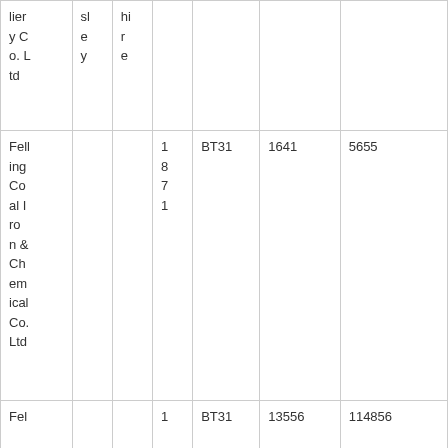| lier y C o. L td | sl e y | hi r e |  |  |  |  |
| Fell ing Co al I ro n & Ch em ical Co. Ltd |  |  | 1 8 7 1 | BT31 | 1641 | 5655 |
| Fel |  |  | 1 | BT31 | 13556 | 114856 |